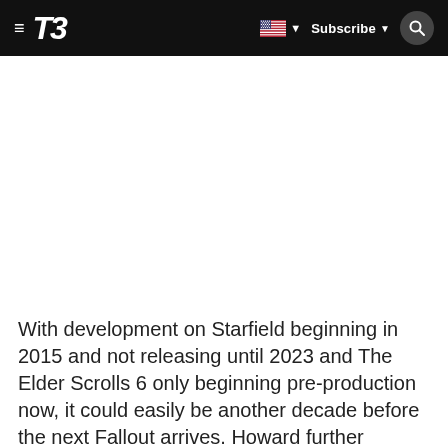T3 | Subscribe
With development on Starfield beginning in 2015 and not releasing until 2023 and The Elder Scrolls 6 only beginning pre-production now, it could easily be another decade before the next Fallout arrives. Howard further acknowledged how